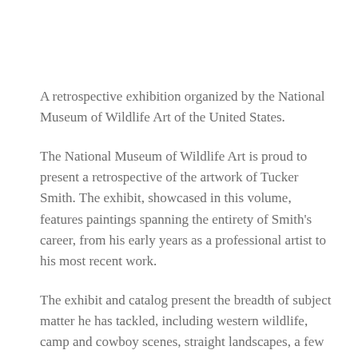A retrospective exhibition organized by the National Museum of Wildlife Art of the United States.
The National Museum of Wildlife Art is proud to present a retrospective of the artwork of Tucker Smith. The exhibit, showcased in this volume, features paintings spanning the entirety of Smith's career, from his early years as a professional artist to his most recent work.
The exhibit and catalog present the breadth of subject matter he has tackled, including western wildlife, camp and cowboy scenes, straight landscapes, a few foreign locales, and one railroad painting (another subject for which Smith is highly regarded).